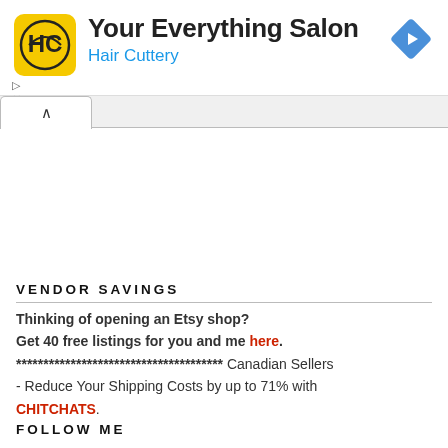[Figure (logo): Hair Cuttery ad banner with yellow HC logo icon, title 'Your Everything Salon', subtitle 'Hair Cuttery' in blue, and blue diamond navigation icon top right]
VENDOR SAVINGS
Thinking of opening an Etsy shop?
Get 40 free listings for you and me here.
************************************** Canadian Sellers - Reduce Your Shipping Costs by up to 71% with CHITCHATS.
FOLLOW ME